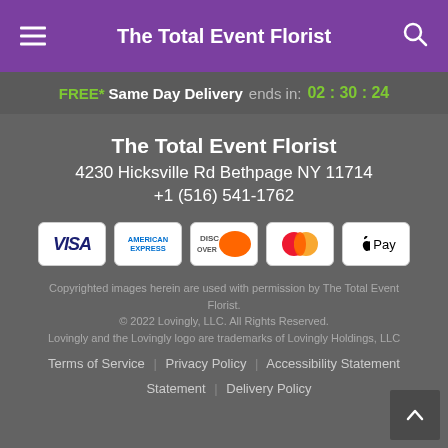The Total Event Florist
FREE* Same Day Delivery ends in: 02:30:24
The Total Event Florist
4230 Hicksville Rd Bethpage NY 11714
+1 (516) 541-1762
[Figure (other): Payment method icons: Visa, American Express, Discover, Mastercard, Apple Pay]
Copyrighted images herein are used with permission by The Total Event Florist.
© 2022 Lovingly, LLC. All Rights Reserved.
Lovingly and the Lovingly logo are trademarks of Lovingly Holdings, LLC
Terms of Service | Privacy Policy | Accessibility Statement | Delivery Policy